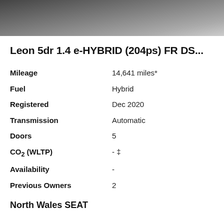[Figure (photo): Partial view of a black car from above/rear angle on a road]
Leon 5dr 1.4 e-HYBRID (204ps) FR DS...
| Mileage | 14,641 miles* |
| Fuel | Hybrid |
| Registered | Dec 2020 |
| Transmission | Automatic |
| Doors | 5 |
| CO₂ (WLTP) | - ‡ |
| Availability | - |
| Previous Owners | 2 |
North Wales SEAT